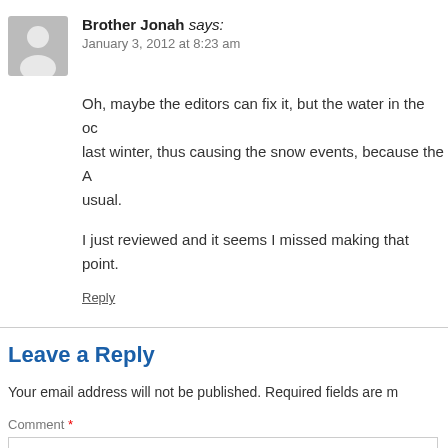[Figure (illustration): Gray avatar silhouette of a person]
Brother Jonah says:
January 3, 2012 at 8:23 am
Oh, maybe the editors can fix it, but the water in the oc last winter, thus causing the snow events, because the A usual.
I just reviewed and it seems I missed making that point.
Reply
Leave a Reply
Your email address will not be published. Required fields are m
Comment *